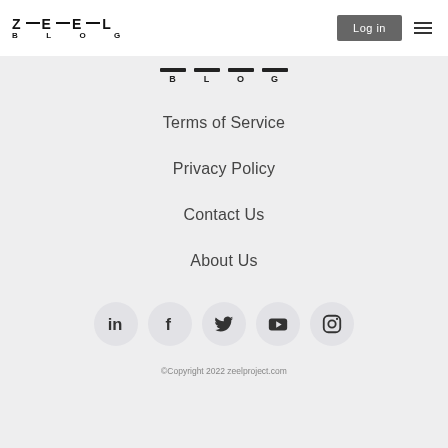ZEEL BLOG — Log in
[Figure (logo): ZEEL BLOG center logo with dashes above letters B L O G]
Terms of Service
Privacy Policy
Contact Us
About Us
[Figure (infographic): Social media icons in circles: LinkedIn, Facebook, Twitter, YouTube, Instagram]
©Copyright 2022 zeelproject.com